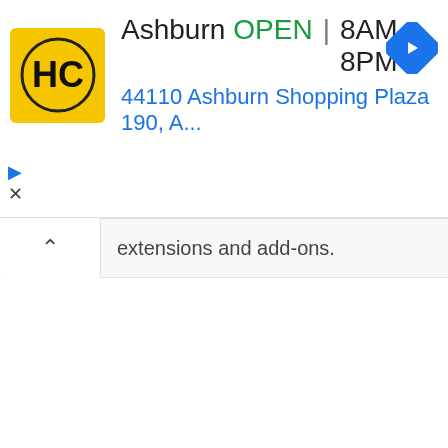[Figure (screenshot): Advertisement banner for HC (Haverty's/hardware store) in Ashburn showing store logo, OPEN status, hours 8AM-8PM, address 44110 Ashburn Shopping Plaza 190 A..., navigation icon, play and close controls]
extensions and add-ons.